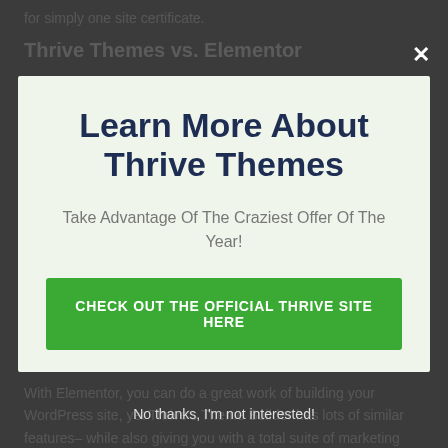for simply one site certificate.
Thrive Themes vs. Elementor
Learn More About Thrive Themes
Take Advantage Of The Craziest Offer Of The Year!
CHECK OUT THE OFFICIAL THRIVE SITE HERE
No thanks, I'm not interested!
With Elementor, you can do a great work of building your WordPress site, yet Thrive's Theme Builder has lots of similar features– while also giving you with a total suite of marketing